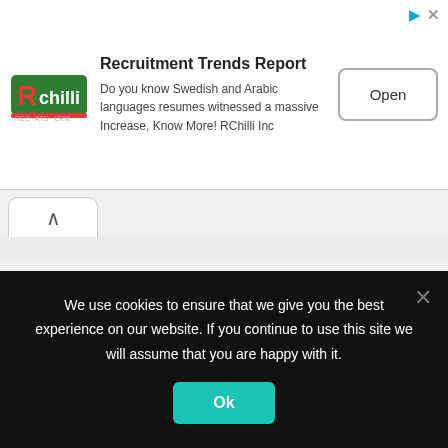[Figure (screenshot): Advertisement banner for RChilli Recruitment Trends Report, showing RChilli logo, title, descriptive text, and an Open button. Above is an ad indicator icon and close button.]
[Figure (screenshot): Tab/pill UI element with an upward-pointing chevron arrow, indicating a collapsible panel.]
We use cookies to ensure that we give you the best experience on our website. If you continue to use this site we will assume that you are happy with it.
Ok